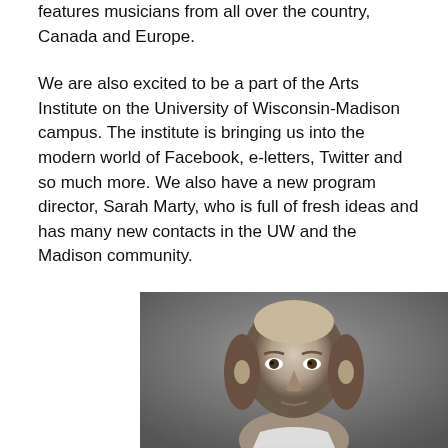features musicians from all over the country, Canada and Europe.
We are also excited to be a part of the Arts Institute on the University of Wisconsin-Madison campus. The institute is bringing us into the modern world of Facebook, e-letters, Twitter and so much more. We also have a new program director, Sarah Marty, who is full of fresh ideas and has many new contacts in the UW and the Madison community.
[Figure (photo): Black and white engraving portrait of William Shakespeare, showing his face and upper chest with collar, in a classic historical style.]